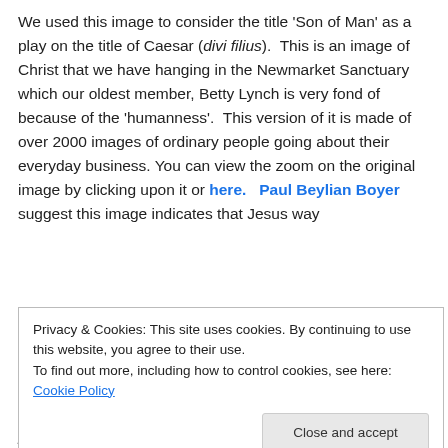We used this image to consider the title 'Son of Man' as a play on the title of Caesar (divi filius). This is an image of Christ that we have hanging in the Newmarket Sanctuary which our oldest member, Betty Lynch is very fond of because of the 'humanness'. This version of it is made of over 2000 images of ordinary people going about their everyday business. You can view the zoom on the original image by clicking upon it or here. Paul Beylian Boyer suggest this image indicates that Jesus way
Privacy & Cookies: This site uses cookies. By continuing to use this website, you agree to their use. To find out more, including how to control cookies, see here: Cookie Policy
people off-balance, so they can be pushed, coerced